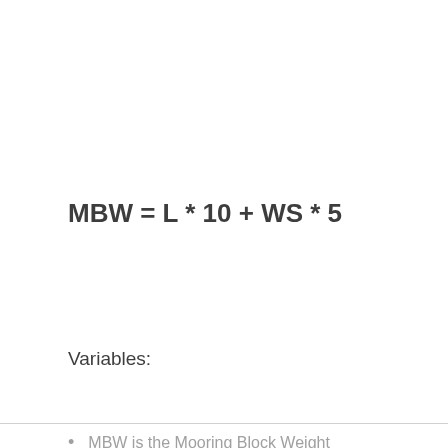Variables:
MBW is the Mooring Block Weight